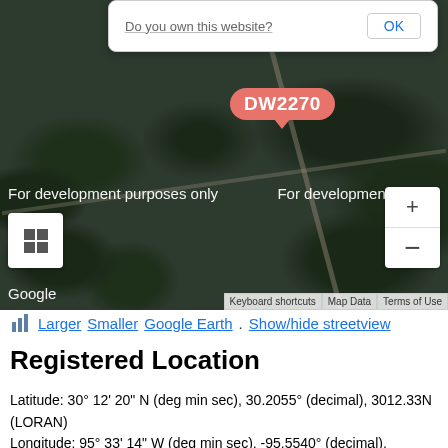[Figure (map): Google Maps satellite view showing a rural area with a road. A marker labeled DW2270 is shown in a salmon/coral colored callout. Map controls (zoom +/-) and Google branding are visible. A dialog at the top says 'Do you own this website?' with an OK button. Development watermarks read 'For development purposes only'.]
Larger | Smaller | Google Earth . Show/hide streetview
Registered Location
Latitude: 30° 12' 20" N (deg min sec), 30.2055° (decimal), 3012.33N (LORAN)
Longitude: 95° 33' 14" W (deg min sec), -95.5540° (decimal), 9533.24W (LORAN)